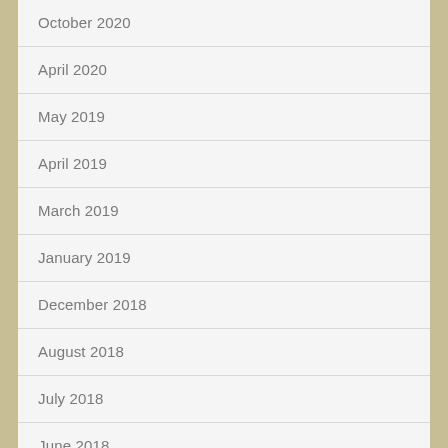October 2020
April 2020
May 2019
April 2019
March 2019
January 2019
December 2018
August 2018
July 2018
June 2018